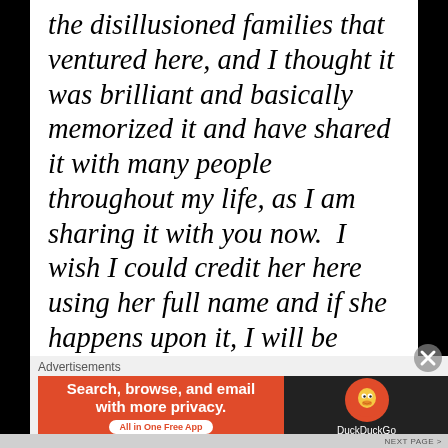the disillusioned families that ventured here, and I thought it was brilliant and basically memorized it and have shared it with many people throughout my life, as I am sharing it with you now.  I wish I could credit her here using her full name and if she happens upon it, I will be thrilled too, but for the sake of her privacy I shall only give her first name, Zorina G. (which means a Queen in Russian).  I miss my friend and thank her for this piece of writing that has stayed close to my
Advertisements
[Figure (other): DuckDuckGo advertisement banner: orange left section with text 'Search, browse, and email with more privacy. All in One Free App', and dark right section with DuckDuckGo logo and name.]